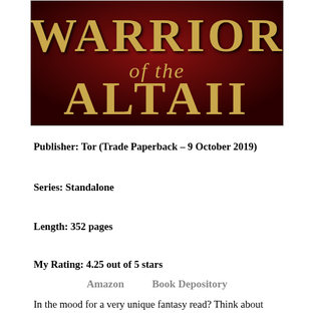[Figure (illustration): Book cover showing 'Warrior of the Altaii' title text in gold lettering on a dark red/crimson background]
Publisher: Tor (Trade Paperback – 9 October 2019)
Series: Standalone
Length: 352 pages
My Rating: 4.25 out of 5 stars
Amazon    Book Depository
In the mood for a very unique fantasy read? Think about